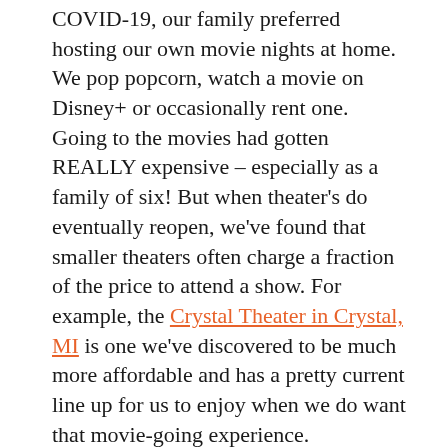COVID-19, our family preferred hosting our own movie nights at home. We pop popcorn, watch a movie on Disney+ or occasionally rent one. Going to the movies had gotten REALLY expensive – especially as a family of six! But when theater's do eventually reopen, we've found that smaller theaters often charge a fraction of the price to attend a show. For example, the Crystal Theater in Crystal, MI is one we've discovered to be much more affordable and has a pretty current line up for us to enjoy when we do want that movie-going experience.
3. Use money saving apps. I (Kati) currently have 13 money saving apps on my phone. These range from cash back...